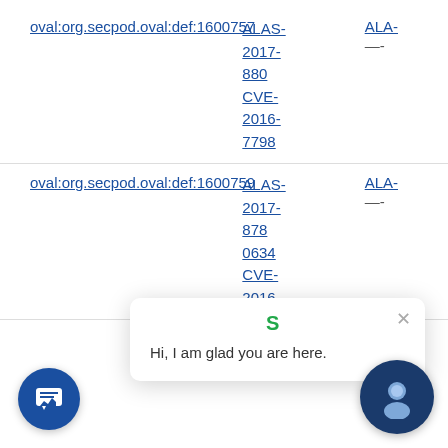| Definition ID | References |  |
| --- | --- | --- |
| oval:org.secpod.oval:def:1600757 | ALAS-2017-880
CVE-2016-7798 | ALA-
—- |
| oval:org.secpod.oval:def:1600759 | ALAS-2017-878
0634
CVE-2016- | ALA-
—- |
[Figure (screenshot): Chat popup widget overlay showing a green S logo and message 'Hi, I am glad you are here.' with a close X button, plus a circular chat button in bottom-left and a chat avatar button in bottom-right.]